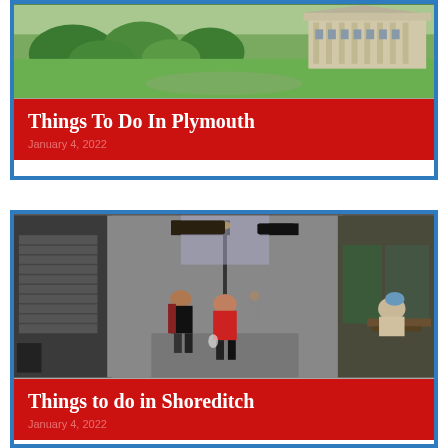[Figure (photo): Aerial or elevated view of Plymouth seafront with green parkland and a classical building with columns in the background]
Things To Do In Plymouth
January 4, 2022
[Figure (photo): Street scene in Shoreditch, London showing a narrow alley with shops, signs, and people walking, with a person sitting at an outdoor table on the right]
Things to do in Shoreditch
January 4, 2022